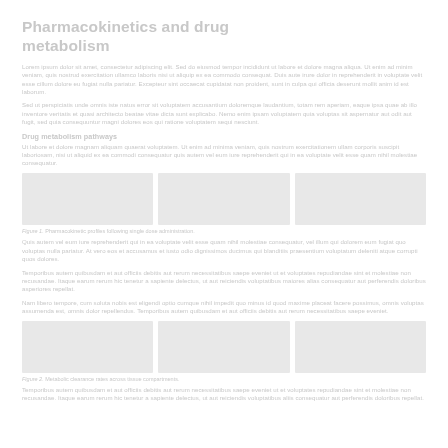Pharmacokinetics and drug metabolism
Lorem ipsum dolor sit amet, consectetur adipiscing elit. Sed do eiusmod tempor incididunt ut labore et dolore magna aliqua. Ut enim ad minim veniam, quis nostrud exercitation ullamco laboris nisi ut aliquip ex ea commodo consequat. Duis aute irure dolor in reprehenderit in voluptate velit esse cillum dolore eu fugiat nulla pariatur. Excepteur sint occaecat cupidatat non proident, sunt in culpa qui officia deserunt mollit anim id est laborum.
Sed ut perspiciatis unde omnis iste natus error sit voluptatem accusantium doloremque laudantium, totam rem aperiam, eaque ipsa quae ab illo inventore veritatis et quasi architecto beatae vitae dicta sunt explicabo. Nemo enim ipsam voluptatem quia voluptas sit aspernatur aut odit aut fugit.
Drug metabolism pathways
Ut labore et dolore magnam aliquam quaerat voluptatem. Ut enim ad minima veniam, quis nostrum exercitationem ullam corporis suscipit laboriosam, nisi ut aliquid ex ea commodi consequatur.
[Figure (other): Three figure panels showing pharmacokinetic data]
Figure 1. Pharmacokinetic profiles following single dose administration.
Quis autem vel eum iure reprehenderit qui in ea voluptate velit esse quam nihil molestiae consequatur, vel illum qui dolorem eum fugiat quo voluptas nulla pariatur. At vero eos et accusamus et iusto odio dignissimos ducimus qui blanditiis praesentium.
Temporibus autem quibusdam et aut officiis debitis aut rerum necessitatibus saepe eveniet ut et voluptates repudiandae sint et molestiae non recusandae. Itaque earum rerum hic tenetur a sapiente delectus, ut aut reiciendis voluptatibus maiores.
Nam libero tempore, cum soluta nobis est eligendi optio cumque nihil impedit quo minus id quod maxime placeat facere possimus, omnis voluptas assumenda est, omnis dolor repellendus.
[Figure (other): Additional pharmacokinetic analysis panels]
Figure 2. Metabolic clearance rates across tissue compartments.
Temporibus autem quibusdam et aut officiis debitis aut rerum necessitatibus saepe eveniet ut et voluptates repudiandae sint et molestiae non recusandae. Itaque earum rerum hic tenetur a sapiente delectus.